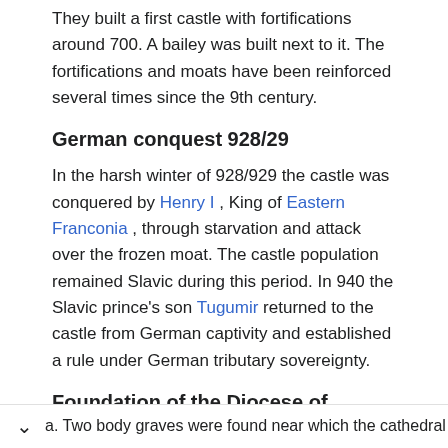They built a first castle with fortifications around 700. A bailey was built next to it. The fortifications and moats have been reinforced several times since the 9th century.
German conquest 928/29
In the harsh winter of 928/929 the castle was conquered by Henry I , King of Eastern Franconia , through starvation and attack over the frozen moat. The castle population remained Slavic during this period. In 940 the Slavic prince's son Tugumir returned to the castle from German captivity and established a rule under German tributary sovereignty.
Foundation of the Diocese of Brandenburg
In 948 the seat of the new diocese of Brandenburg was established in the north-eastern outer bailey. The archaeological findings show the abandonment of the Slavic settlement in this area and the creation of a large leveled a. Two body graves were found near which the cathedral